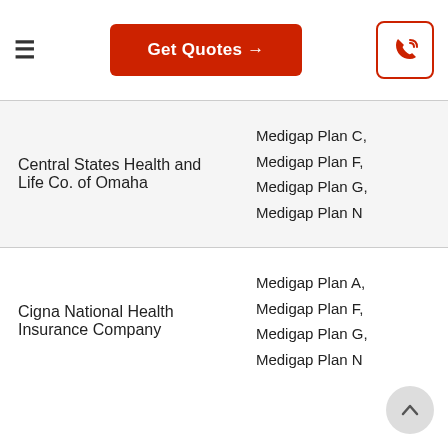≡  Get Quotes →  [phone icon]
| Company | Plans |
| --- | --- |
| Central States Health and Life Co. of Omaha | Medigap Plan C,
Medigap Plan F,
Medigap Plan G,
Medigap Plan N |
| Cigna National Health Insurance Company | Medigap Plan A,
Medigap Plan F,
Medigap Plan G,
Medigap Plan N |